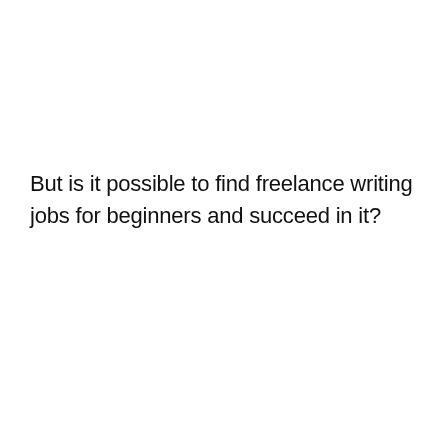But is it possible to find freelance writing jobs for beginners and succeed in it?